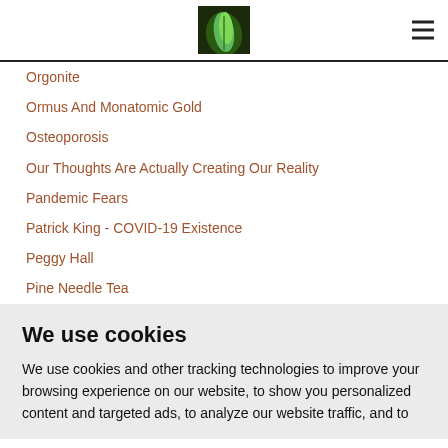[Logo: green leaf image] [Hamburger menu icon]
Orgonite
Ormus And Monatomic Gold
Osteoporosis
Our Thoughts Are Actually Creating Our Reality
Pandemic Fears
Patrick King - COVID-19 Existence
Peggy Hall
Pine Needle Tea
We use cookies
We use cookies and other tracking technologies to improve your browsing experience on our website, to show you personalized content and targeted ads, to analyze our website traffic, and to